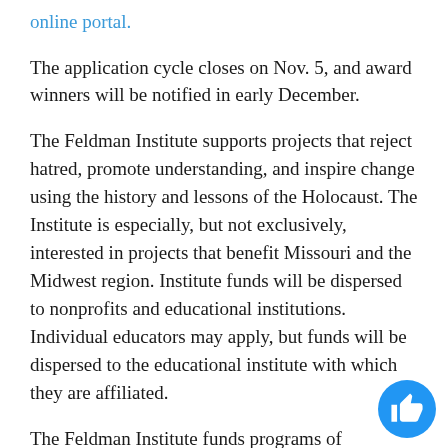online portal.
The application cycle closes on Nov. 5, and award winners will be notified in early December.
The Feldman Institute supports projects that reject hatred, promote understanding, and inspire change using the history and lessons of the Holocaust. The Institute is especially, but not exclusively, interested in projects that benefit Missouri and the Midwest region. Institute funds will be dispersed to nonprofits and educational institutions. Individual educators may apply, but funds will be dispersed to the educational institute with which they are affiliated.
The Feldman Institute funds programs of educational and artistic merit that do one or more of the following: explore the history and legacy of the Holocaust; use the lessons of the Holocaust to